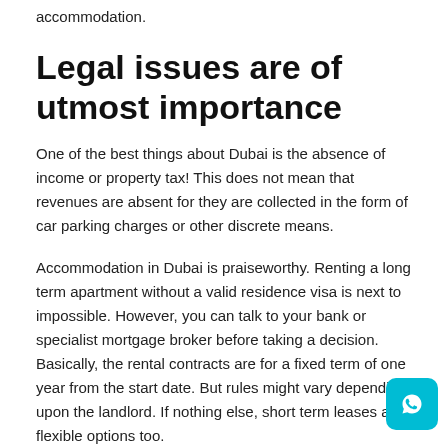accommodation.
Legal issues are of utmost importance
One of the best things about Dubai is the absence of income or property tax! This does not mean that revenues are absent for they are collected in the form of car parking charges or other discrete means.
Accommodation in Dubai is praiseworthy. Renting a long term apartment without a valid residence visa is next to impossible. However, you can talk to your bank or specialist mortgage broker before taking a decision. Basically, the rental contracts are for a fixed term of one year from the start date. But rules might vary depending upon the landlord. If nothing else, short term leases are flexible options too.
What is unfortunate about the real estate market in Dubai is that brokers and real estate agents have different ethics and work on the basis of that. For real brokers the range of morals and professionalism...